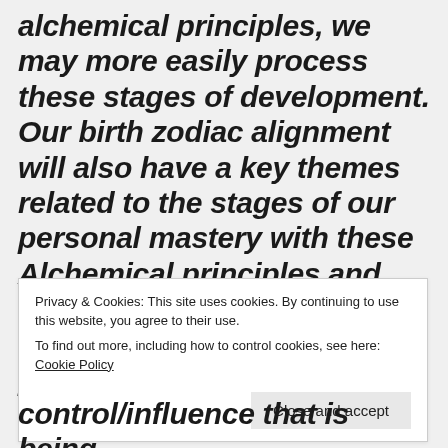alchemical principles, we may more easily process these stages of development. Our birth zodiac alignment will also have a key themes related to the stages of our personal mastery with these Alchemical principles and may be worth meditating upon. They represent the primary Alchemical
Privacy & Cookies: This site uses cookies. By continuing to use this website, you agree to their use. To find out more, including how to control cookies, see here: Cookie Policy
control/influence that is being